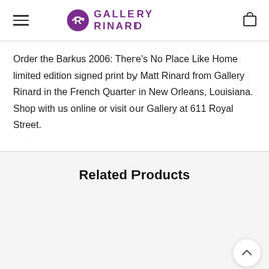Gallery Rinard
Order the Barkus 2006: There's No Place Like Home limited edition signed print by Matt Rinard from Gallery Rinard in the French Quarter in New Orleans, Louisiana.  Shop with us online or visit our Gallery at 611 Royal Street.
Related Products